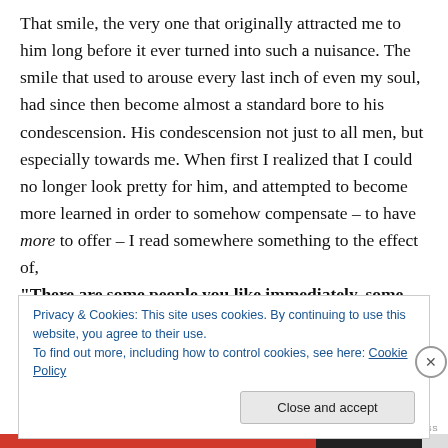That smile, the very one that originally attracted me to him long before it ever turned into such a nuisance. The smile that used to arouse every last inch of even my soul, had since then become almost a standard bore to his condescension. His condescension not just to all men, but especially towards me. When first I realized that I could no longer look pretty for him, and attempted to become more learned in order to somehow compensate – to have more to offer – I read somewhere something to the effect of, "There are some people you like immediately, some whom you think you might learn to like in the fullness
Privacy & Cookies: This site uses cookies. By continuing to use this website, you agree to their use.
To find out more, including how to control cookies, see here: Cookie Policy